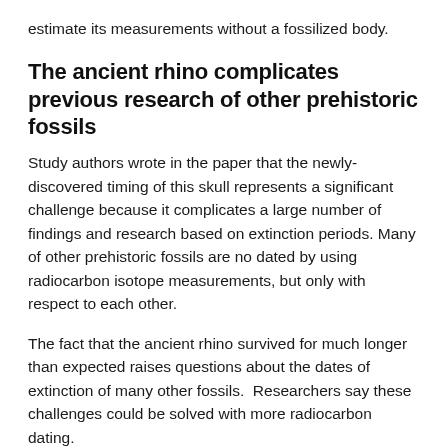estimate its measurements without a fossilized body.
The ancient rhino complicates previous research of other prehistoric fossils
Study authors wrote in the paper that the newly-discovered timing of this skull represents a significant challenge because it complicates a large number of findings and research based on extinction periods. Many of other prehistoric fossils are no dated by using radiocarbon isotope measurements, but only with respect to each other.
The fact that the ancient rhino survived for much longer than expected raises questions about the dates of extinction of many other fossils.  Researchers say these challenges could be solved with more radiocarbon dating.